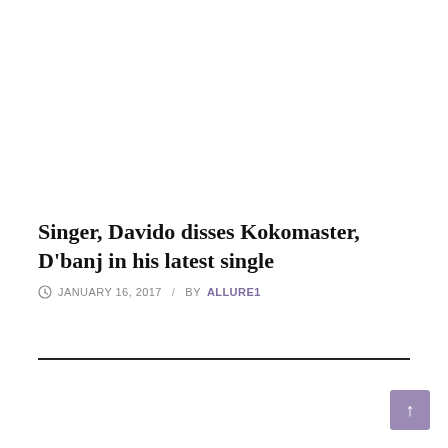Singer, Davido disses Kokomaster, D'banj in his latest single
JANUARY 16, 2017  /  BY ALLURE1